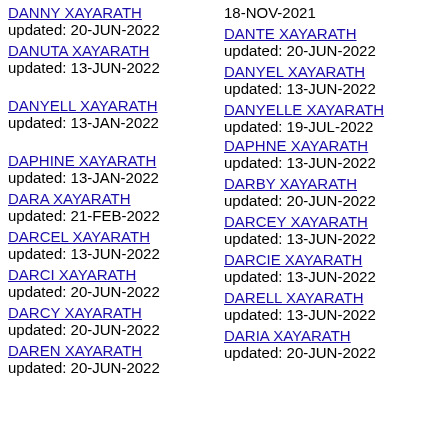18-NOV-2021
DANNY XAYARATH updated: 20-JUN-2022
DANTE XAYARATH updated: 20-JUN-2022
DANUTA XAYARATH updated: 13-JUN-2022
DANYEL XAYARATH updated: 13-JUN-2022
DANYELL XAYARATH updated: 13-JAN-2022
DANYELLE XAYARATH updated: 19-JUL-2022
DAPHINE XAYARATH updated: 13-JAN-2022
DAPHNE XAYARATH updated: 13-JUN-2022
DARA XAYARATH updated: 21-FEB-2022
DARBY XAYARATH updated: 20-JUN-2022
DARCEL XAYARATH updated: 13-JUN-2022
DARCEY XAYARATH updated: 13-JUN-2022
DARCI XAYARATH updated: 20-JUN-2022
DARCIE XAYARATH updated: 13-JUN-2022
DARCY XAYARATH updated: 20-JUN-2022
DARELL XAYARATH updated: 13-JUN-2022
DAREN XAYARATH updated: 20-JUN-2022
DARIA XAYARATH updated: 20-JUN-2022